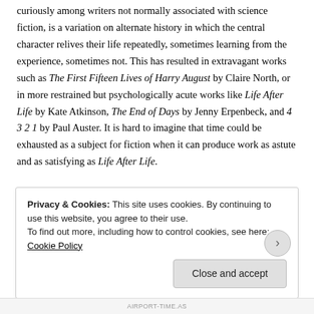curiously among writers not normally associated with science fiction, is a variation on alternate history in which the central character relives their life repeatedly, sometimes learning from the experience, sometimes not. This has resulted in extravagant works such as The First Fifteen Lives of Harry August by Claire North, or in more restrained but psychologically acute works like Life After Life by Kate Atkinson, The End of Days by Jenny Erpenbeck, and 4 3 2 1 by Paul Auster. It is hard to imagine that time could be exhausted as a subject for fiction when it can produce work as astute and as satisfying as Life After Life.
Privacy & Cookies: This site uses cookies. By continuing to use this website, you agree to their use.
To find out more, including how to control cookies, see here: Cookie Policy
AIRPORT-TIME.AS